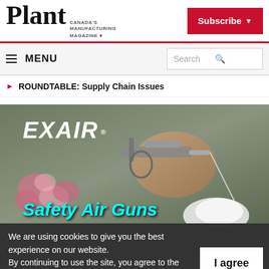Plant — Canada's Manufacturing Magazine
Subscribe
≡ MENU | Search
ROUNDTABLE: Supply Chain Issues
[Figure (photo): EXAIR Safety Air Guns advertisement showing a hand holding an air gun device, with pink flowers in background and cyan bold text 'Safety Air Guns' overlaid at bottom.]
We are using cookies to give you the best experience on our website. By continuing to use the site, you agree to the use of cookies. To find out more, read our privacy policy.